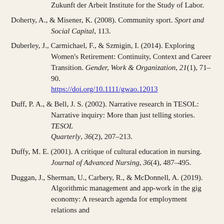Zukunft der Arbeit Institute for the Study of Labor.
Doherty, A., & Misener, K. (2008). Community sport. Sport and Social Capital, 113.
Duberley, J., Carmichael, F., & Szmigin, I. (2014). Exploring Women's Retirement: Continuity, Context and Career Transition. Gender, Work & Organization, 21(1), 71–90. https://doi.org/10.1111/gwao.12013
Duff, P. A., & Bell, J. S. (2002). Narrative research in TESOL: Narrative inquiry: More than just telling stories. TESOL Quarterly, 36(2), 207–213.
Duffy, M. E. (2001). A critique of cultural education in nursing. Journal of Advanced Nursing, 36(4), 487–495.
Duggan, J., Sherman, U., Carbery, R., & McDonnell, A. (2019). Algorithmic management and app-work in the gig economy: A research agenda for employment relations and